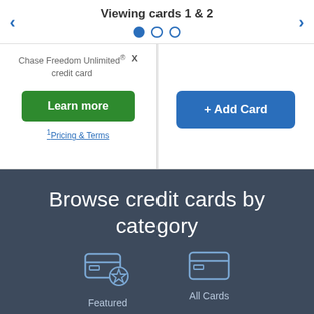Viewing cards 1 & 2
Chase Freedom Unlimited® credit card
Learn more
+ Add Card
¹Pricing & Terms
Browse credit cards by category
[Figure (illustration): Featured credit card icon with star badge]
Featured
[Figure (illustration): All Cards credit card icon]
All Cards